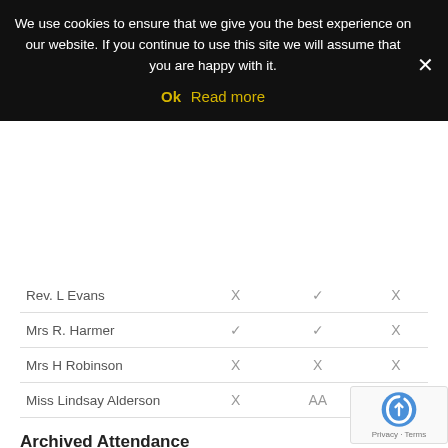We use cookies to ensure that we give you the best experience on our website. If you continue to use this site we will assume that you are happy with it. Ok Read more
| Name | Col1 | Col2 | Col3 |
| --- | --- | --- | --- |
| Rev. L Evans | X | ✓ | X |
| Mrs R. Harmer | ✓ | ✓ | X |
| Mrs H Robinson | X | X | X |
| Miss Lindsay Alderson | X | AA | X |
Archived Attendance
You can also view previous years attendance on our website.
Committee Terms of Refere…
We will be updating this section as soon as possible…